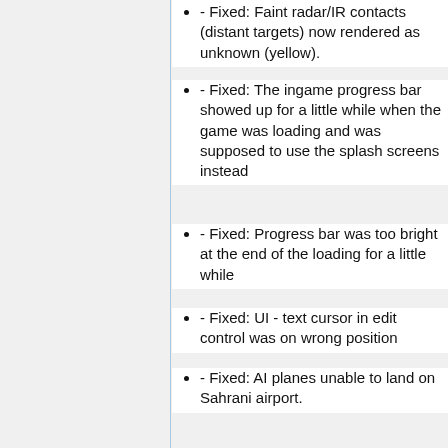- Fixed: Faint radar/IR contacts (distant targets) now rendered as unknown (yellow).
- Fixed: The ingame progress bar showed up for a little while when the game was loading and was supposed to use the splash screens instead
- Fixed: Progress bar was too bright at the end of the loading for a little while
- Fixed: UI - text cursor in edit control was on wrong position
- Fixed: AI planes unable to land on Sahrani airport.
- Fixed: AI - car drivers sometimes ignored commands from player in cargo
- New: function isServer to check if given machine is the server.